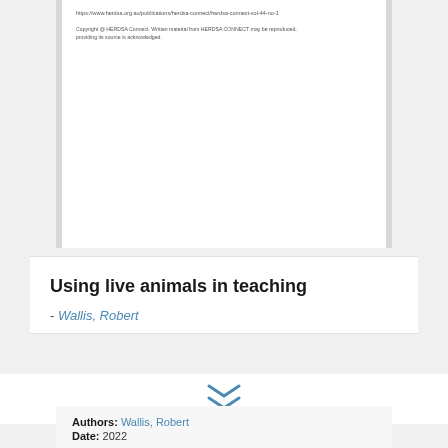https://www.herdsa.org.au/publications/herdsa-connect/herdsa-connect-vol-44-no-1
Copyright @ HERDSA Connect. Written material from HERDSA CONNECT may be reproduced, providing its source is acknowledged.
Using live animals in teaching
- Wallis, Robert
[Figure (other): Double chevron down arrow icon in blue]
Authors: Wallis, Robert
Date: 2022